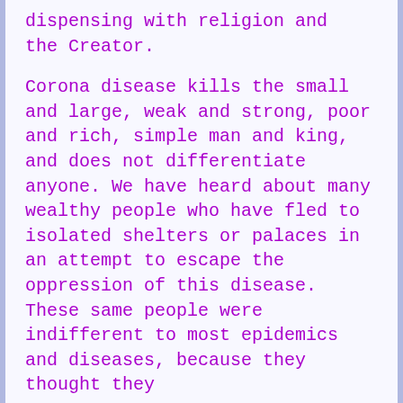dispensing with religion and the Creator.
Corona disease kills the small and large, weak and strong, poor and rich, simple man and king, and does not differentiate anyone. We have heard about many wealthy people who have fled to isolated shelters or palaces in an attempt to escape the oppression of this disease. These same people were indifferent to most epidemics and diseases, because they thought they